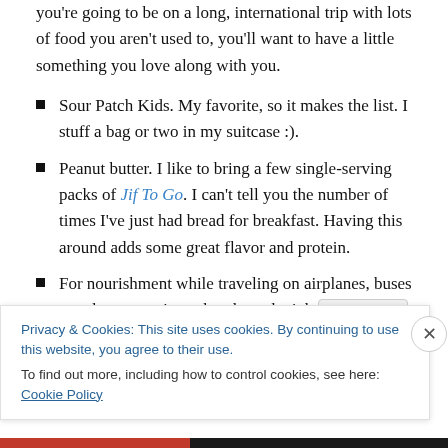you're going to be on a long, international trip with lots of food you aren't used to, you'll want to have a little something you love along with you.
Sour Patch Kids. My favorite, so it makes the list. I stuff a bag or two in my suitcase :).
Peanut butter. I like to bring a few single-serving packs of Jif To Go. I can't tell you the number of times I've just had bread for breakfast. Having this around adds some great flavor and protein.
For nourishment while traveling on airplanes, buses or subways, or just a break on the job site, I like to snack
Privacy & Cookies: This site uses cookies. By continuing to use this website, you agree to their use.
To find out more, including how to control cookies, see here: Cookie Policy
Close and accept